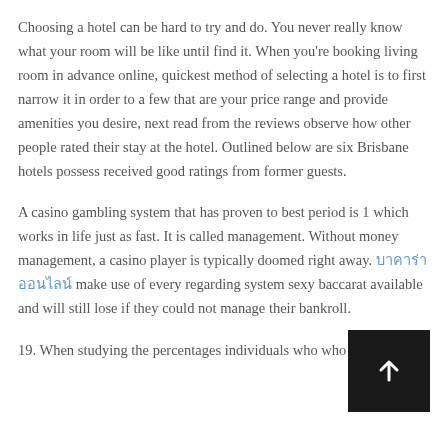Choosing a hotel can be hard to try and do. You never really know what your room will be like until find it. When you're booking living room in advance online, quickest method of selecting a hotel is to first narrow it in order to a few that are your price range and provide amenities you desire, next read from the reviews observe how other people rated their stay at the hotel. Outlined below are six Brisbane hotels possess received good ratings from former guests.
A casino gambling system that has proven to best period is 1 which works in life just as fast. It is called management. Without money management, a casino player is typically doomed right away. [Thai link] make use of every regarding system sexy baccarat available and will still lose if they could not manage their bankroll.
19. When studying the percentages individuals who who visit Las